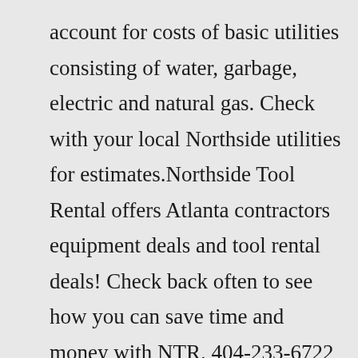account for costs of basic utilities consisting of water, garbage, electric and natural gas. Check with your local Northside utilities for estimates.Northside Tool Rental offers Atlanta contractors equipment deals and tool rental deals! Check back often to see how you can save time and money with NTR. 404-233-6722 Northside Apartments for Rent. Browse 232 Apartments in Richmond, VA. View rentals, browse photos